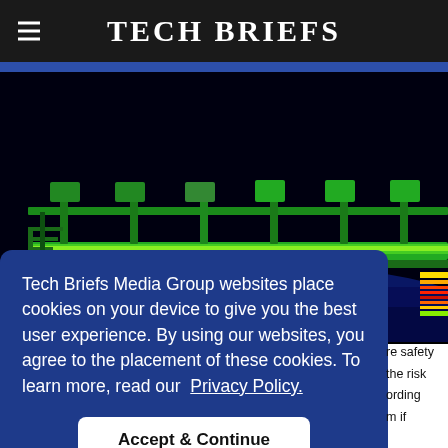Tech Briefs
[Figure (photo): Thermal infrared image of an industrial conveyor bridge structure, showing heat map coloring from blue (cool) to green/yellow/red (hot). Structure appears to be an elevated walkway or conveyor system.]
Tech Briefs Media Group websites place cookies on your device to give you the best user experience. By using our websites, you agree to the placement of these cookies. To learn more, read our Privacy Policy.
Accept & Continue